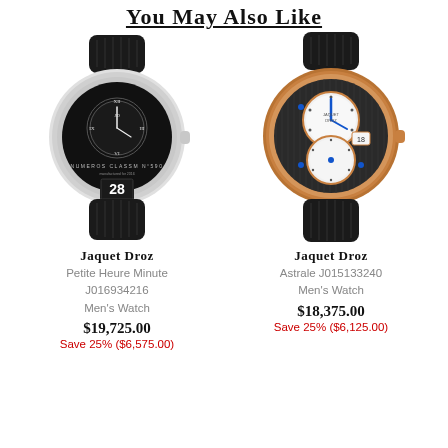You May Also Like
[Figure (photo): Jaquet Droz Petite Heure Minute J016934216 Men's Watch with black dial, white/silver case, black leather strap]
Jaquet Droz
Petite Heure Minute
J016934216
Men's Watch
$19,725.00
Save 25% ($6,575.00)
[Figure (photo): Jaquet Droz Astrale J015133240 Men's Watch with rose gold case, dual sub-dial face, black leather strap]
Jaquet Droz
Astrale J015133240
Men's Watch
$18,375.00
Save 25% ($6,125.00)